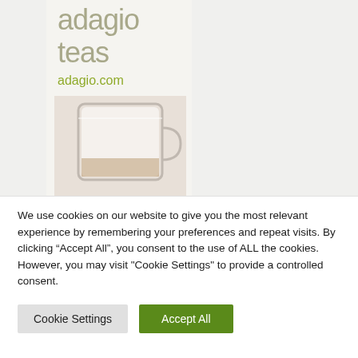[Figure (advertisement): Adagio Teas advertisement showing the brand name 'adagio teas' in grey text, 'adagio.com' in green text, and a glass tea cup/pitcher at the bottom, on a light beige background.]
We use cookies on our website to give you the most relevant experience by remembering your preferences and repeat visits. By clicking “Accept All”, you consent to the use of ALL the cookies. However, you may visit "Cookie Settings" to provide a controlled consent.
Cookie Settings
Accept All